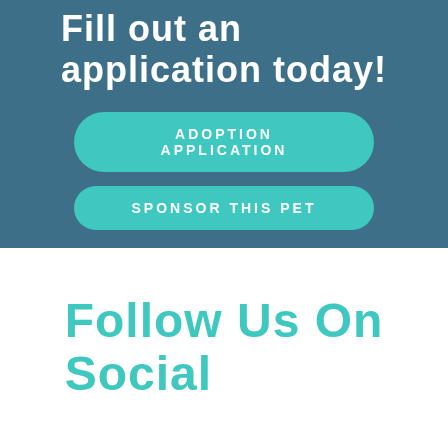Fill out an application today!
ADOPTION APPLICATION
SPONSOR THIS PET
Follow Us On Social